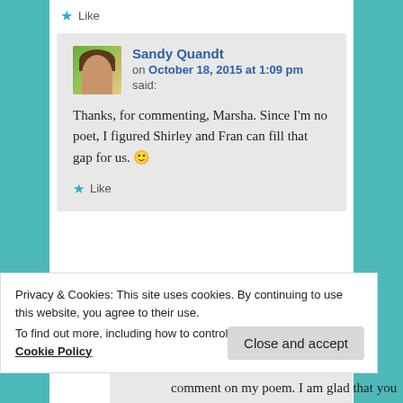★ Like
Sandy Quandt
on October 18, 2015 at 1:09 pm
said:
Thanks, for commenting, Marsha. Since I'm no poet, I figured Shirley and Fran can fill that gap for us. 🙂
★ Like
Privacy & Cookies: This site uses cookies. By continuing to use this website, you agree to their use.
To find out more, including how to control cookies, see here: Cookie Policy
Close and accept
comment on my poem. I am glad that you